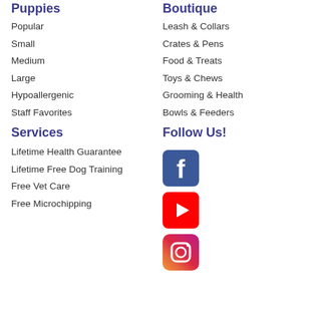Puppies
Popular
Small
Medium
Large
Hypoallergenic
Staff Favorites
Services
Lifetime Health Guarantee
Lifetime Free Dog Training
Free Vet Care
Free Microchipping
Boutique
Leash & Collars
Crates & Pens
Food & Treats
Toys & Chews
Grooming & Health
Bowls & Feeders
Follow Us!
[Figure (logo): Facebook logo icon - blue rounded square with white f]
[Figure (logo): YouTube logo icon - red rounded square with white play button]
[Figure (logo): Instagram logo icon - gradient rounded square with camera icon]